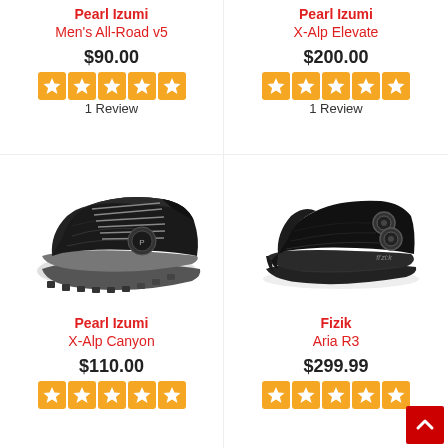Pearl Izumi
Men's All-Road v5
$90.00
[Figure (infographic): 5 orange star rating badges, 1 Review]
Pearl Izumi
X-Alp Elevate
$200.00
[Figure (infographic): 5 orange star rating badges, 1 Review]
[Figure (photo): Black Pearl Izumi X-Alp Canyon cycling shoe, side view]
[Figure (photo): Black Fizik Aria R3 cycling shoe, side view]
Pearl Izumi
X-Alp Canyon
$110.00
[Figure (infographic): 5 orange star rating badges]
Fizik
Aria R3
$299.99
[Figure (infographic): 5 orange star rating badges]